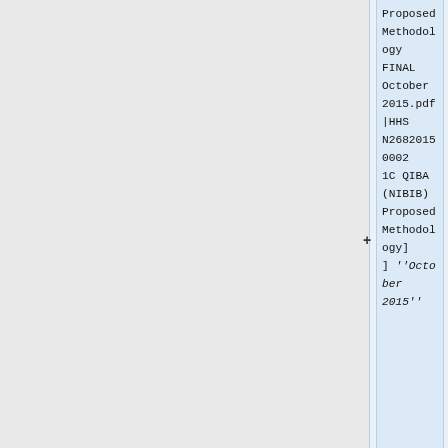Proposed Methodology FINAL October 2015.pdf|HHSN26820150021C QIBA (NIBIB) Proposed Methodology] ''October 2015''
[[Media:QIBA Selected Projects for 2016-2017.pdf | QIBA Selected Projects for